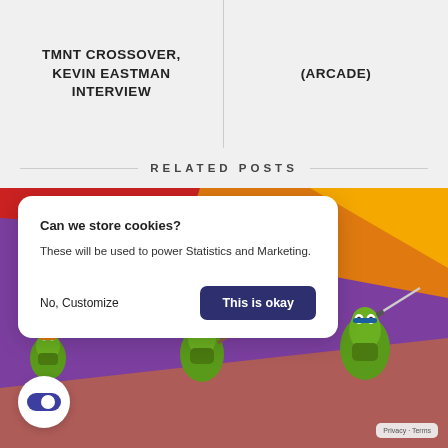TMNT CROSSOVER, KEVIN EASTMAN INTERVIEW
(ARCADE)
RELATED POSTS
[Figure (screenshot): Cookie consent modal overlay on a TMNT arcade game image background. Modal reads: 'Can we store cookies? These will be used to power Statistics and Marketing.' with 'No, Customize' and 'This is okay' buttons. Background shows colorful TMNT ninja turtles arcade game art with purple and orange diagonal stripes.]
Privacy - Terms